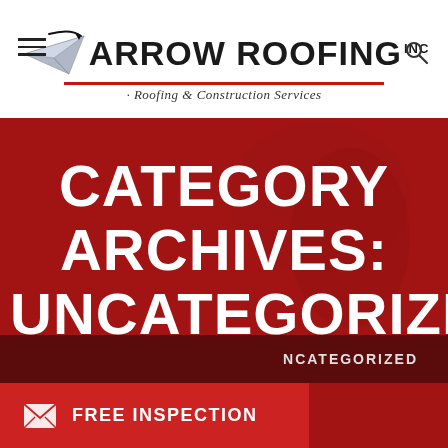[Figure (logo): Arrow Roofing Inc logo with paper airplane icon and tagline Roofing & Construction Services]
CATEGORY ARCHIVES: UNCATEGORIZED
NCATEGORIZED
FREE INSPECTION